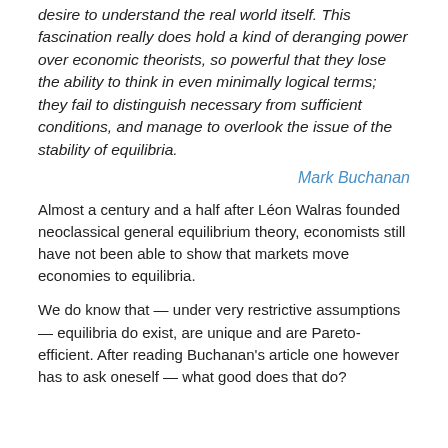desire to understand the real world itself. This fascination really does hold a kind of deranging power over economic theorists, so powerful that they lose the ability to think in even minimally logical terms; they fail to distinguish necessary from sufficient conditions, and manage to overlook the issue of the stability of equilibria.
Mark Buchanan
Almost a century and a half after Léon Walras founded neoclassical general equilibrium theory, economists still have not been able to show that markets move economies to equilibria.
We do know that — under very restrictive assumptions — equilibria do exist, are unique and are Pareto-efficient. After reading Buchanan's article one however has to ask oneself — what good does that do?